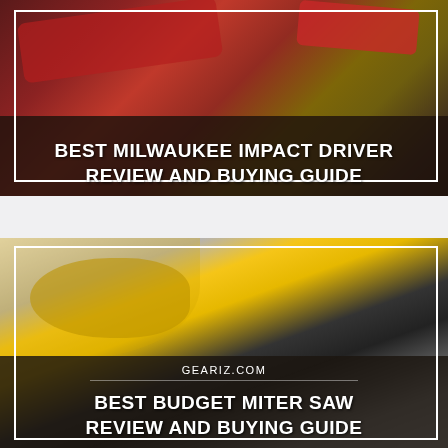[Figure (photo): Photo of Milwaukee impact drivers/power tools (red tools on wooden background) with white border box overlay and dark semi-transparent banner at bottom showing title text]
BEST MILWAUKEE IMPACT DRIVER REVIEW AND BUYING GUIDE
[Figure (photo): Photo of a person using a yellow DeWalt miter saw / compound sliding miter saw, with white border box overlay, GEARIZ.COM watermark, and dark semi-transparent banner at bottom]
GEARIZ.COM
BEST BUDGET MITER SAW REVIEW AND BUYING GUIDE